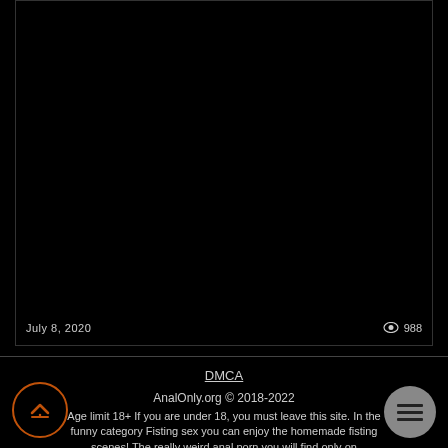[Figure (screenshot): Black video player area with dark background]
July 8, 2020
988
DMCA
AnalOnly.org © 2018-2022
Age limit 18+ If you are under 18, you must leave this site. In the funny category Fisting sex you can enjoy the homemade fisting scenes! The really weird anal porn you will find only on